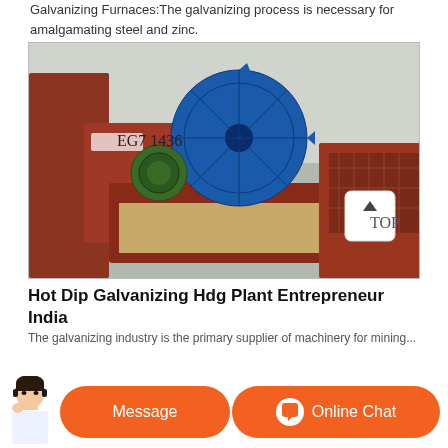Galvanizing Furnaces:The galvanizing process is necessary for amalgamating steel and zinc.
[Figure (photo): Industrial machine — large blue wheel/gear mechanism mounted on a red flatbed truck, photographed outdoors near a warehouse building. Text 'EG7 1436' visible on the equipment.]
Hot Dip Galvanizing Hdg Plant Entrepreneur India
...
Message
Online Chat